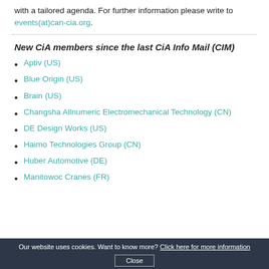with a tailored agenda. For further information please write to events(at)can-cia.org.
New CiA members since the last CiA Info Mail (CIM)
Aptiv (US)
Blue Origin (US)
Brain (US)
Changsha Allnumeric Electromechanical Technology (CN)
DE Design Works (US)
Haimo Technologies Group (CN)
Huber Automotive (DE)
Manitowoc Cranes (FR)
Our website uses cookies. Want to know more? Click here for more information Close